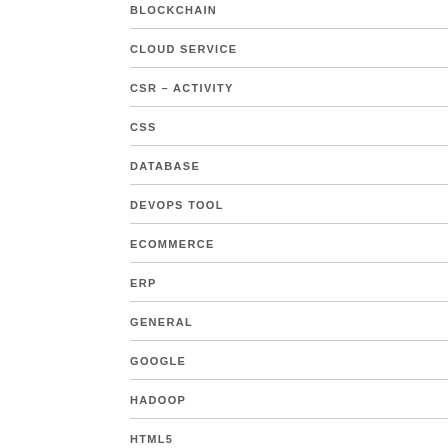BLOCKCHAIN
CLOUD SERVICE
CSR – ACTIVITY
CSS
DATABASE
DEVOPS TOOL
ECOMMERCE
ERP
GENERAL
GOOGLE
HADOOP
HTML5
IOS
JAVASCRIPT
JQUERY